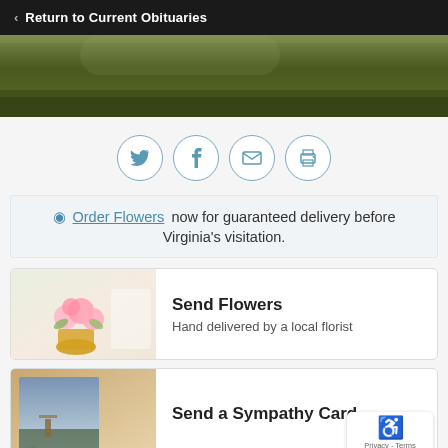< Return to Current Obituaries
[Figure (photo): Green grass/foliage landscape hero image strip]
[Figure (infographic): Social sharing icons row: Twitter, Facebook, Email, Print — each in a circular border outline]
Order Flowers now for guaranteed delivery before Virginia's visitation.
[Figure (photo): Send Flowers card with pink flower bouquet image on left]
Send Flowers
Hand delivered by a local florist
[Figure (photo): Send a Sympathy Card with scenic dock/lake image on left]
Send a Sympathy Card